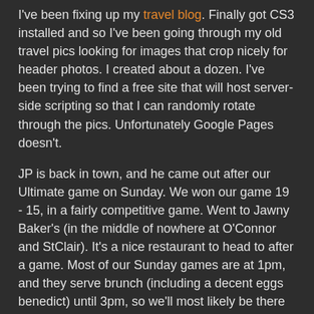I've been fixing up my travel blog. Finally got CS3 installed and so I've been going through my old travel pics looking for images that crop nicely for header photos. I created about a dozen. I've been trying to find a free site that will host server-side scripting so that I can randomly rotate through the pics. Unfortunately Google Pages doesn't.
JP is back in town, and he came out after our Ultimate game on Sunday. We won our game 19 - 15, in a fairly competitive game. Went to Jawny Baker's (in the middle of nowhere at O'Connor and StClair). It's a nice restaurant to head to after a game. Most of our Sunday games are at 1pm, and they serve brunch (including a decent eggs benedict) until 3pm, so we'll most likely be there every week. Our games are near Bermondsey and Eglinton (even more in the middle of nowhere). We should do pretty well this season.
Hockey hasn't started out that great. We lost our first game 8-0; and then our next game 5-0. Hopefully they'll re-sort the teams soon. This week's game is late, at 11:15pm, but it's also the night of the VP debate in the US. Most people I